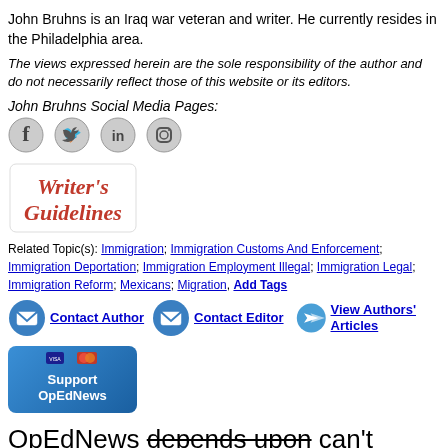John Bruhns is an Iraq war veteran and writer. He currently resides in the Philadelphia area.
The views expressed herein are the sole responsibility of the author and do not necessarily reflect those of this website or its editors.
John Bruhns Social Media Pages:
[Figure (infographic): Social media icons: Facebook, Twitter, LinkedIn, Instagram]
[Figure (illustration): Writer's Guidelines logo in red cursive text]
Related Topic(s): Immigration; Immigration Customs And Enforcement; Immigration Deportation; Immigration Employment Illegal; Immigration Legal; Immigration Reform; Mexicans; Migration, Add Tags
[Figure (infographic): Contact Author, Contact Editor, View Authors' Articles buttons with envelope and arrow icons]
[Figure (illustration): Support OpEdNews button with Visa/Mastercard icons]
OpEdNews depends upon can't survive without your help.